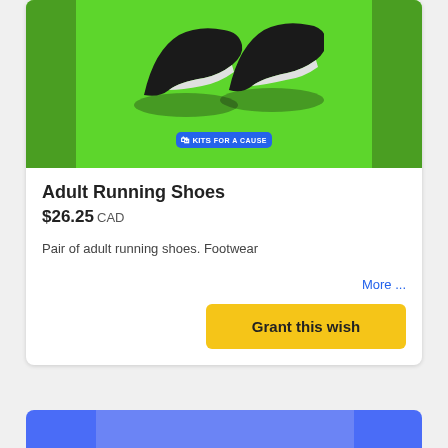[Figure (photo): Black adult running shoes displayed on a bright green background with a Kits For A Cause logo watermark at the bottom center]
Adult Running Shoes
$26.25 CAD
Pair of adult running shoes. Footwear
More ...
Grant this wish
[Figure (photo): Partial view of a second product card with a blue/purple background, cropped at bottom of page]